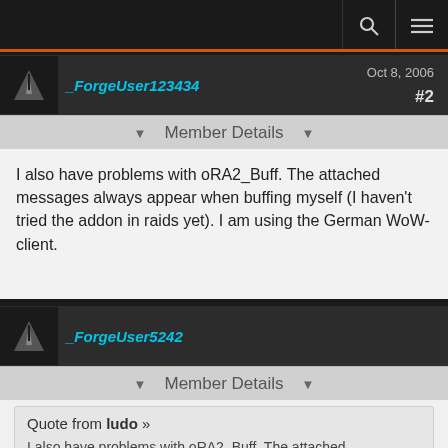_ForgeUser123434 Oct 8, 2006 #2
Member Details
I also have problems with oRA2_Buff. The attached messages always appear when buffing myself (I haven't tried the addon in raids yet). I am using the German WoW-client.
_ForgeUser5242 Oct 8, 2006 #3
Member Details
Quote from ludo »
I also have problems with oRA2_Buff. The attached